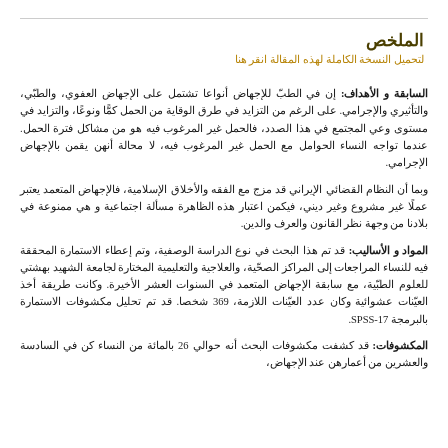الملخص
لتحميل النسخة الكاملة لهذه المقالة انقر هنا
السابقة و الأهداف: إن في الطب للإجهاض أنواعا تشتمل على الإجهاض العفوي، والطبي، والتأثيري والإجرامي. على الرغم من التزايد في طرق الوقاية من الحمل كمًّا ونوعًا، والتزايد في مستوى وعي المجتمع في هذا الصدد، فالحمل غير المرغوب فيه هو من مشاكل فترة الحمل. عندما تواجه النساء الحوامل مع الحمل غير المرغوب فيه، لا محالة أنهن يقمن بالإجهاض الإجرامي.
وبما أن النظام القضائي الإيراني قد مزج مع الفقه والأخلاق الإسلامية، فالإجهاض المتعمد يعتبر عملًا غير مشروع وغير ديني، فيكمن اعتبار هذه الظاهرة مسألة اجتماعية و هي ممنوعة في بلادنا من وجهة نظر القانون والعرف والدين.
المواد و الأساليب: قد تم هذا البحث في نوع الدراسة الوصفية، وتم إعطاء الاستمارة المحققة فيه للنساء المراجعات إلى المراكز الصحية، والعلاجية والتعليمية المختارة لجامعة الشهيد بهشتي للعلوم الطبية، مع سابقة الإجهاض المتعمد في السنوات العشر الأخيرة. وكانت طريقة أخذ العينات عشوائية وكان عدد العينات اللازمة، 369 شخصا. قد تم تحليل مكشوفات الاستمارة بالبرمجة SPSS-17.
المكشوفات: قد كشفت مكشوفات البحث أنه حوالي 26 بالمائة من النساء كن في السادسة والعشرين من أعمارهن عند الإجهاض،